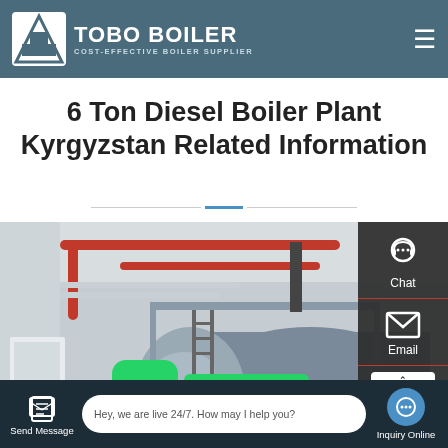TOBO BOILER - COST-EFFECTIVE BOILER SUPPLIER
6 Ton Diesel Boiler Plant Kyrgyzstan Related Information
[Figure (photo): Industrial boiler plant interior showing a large horizontal cylindrical boiler with red pipes and metal walkways, with WhatsApp contact button overlay and 'Contact us now!' button]
Send Message | Hey, we are live 24/7. How may I help you? | Inquiry Online